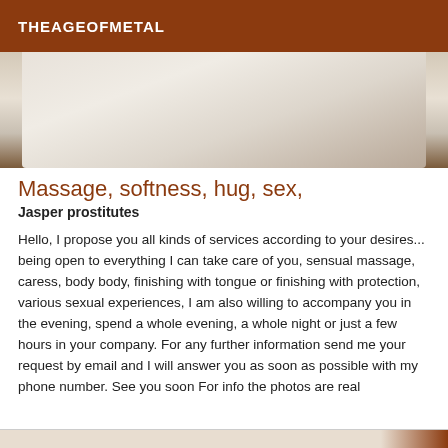THEAGEOFMETAL
[Figure (photo): Close-up photo of a white massage table surface with wooden frame visible at edges]
Massage, softness, hug, sex,
Jasper prostitutes
Hello, I propose you all kinds of services according to your desires... being open to everything I can take care of you, sensual massage, caress, body body, finishing with tongue or finishing with protection, various sexual experiences, I am also willing to accompany you in the evening, spend a whole evening, a whole night or just a few hours in your company. For any further information send me your request by email and I will answer you as soon as possible with my phone number. See you soon For info the photos are real